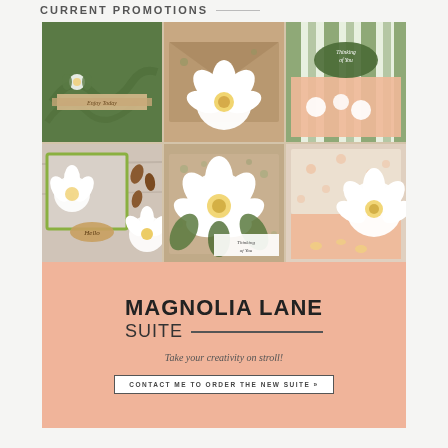CURRENT PROMOTIONS
[Figure (photo): Collage of greeting cards and craft supplies featuring the Magnolia Lane Suite — includes cards with magnolia flowers, green embossed designs, kraft paper, striped patterns, a white paper flower, and 'Thinking of You' and 'Hello' sentiments on peach and green backgrounds.]
MAGNOLIA LANE SUITE
Take your creativity on stroll!
CONTACT ME TO ORDER THE NEW SUITE »